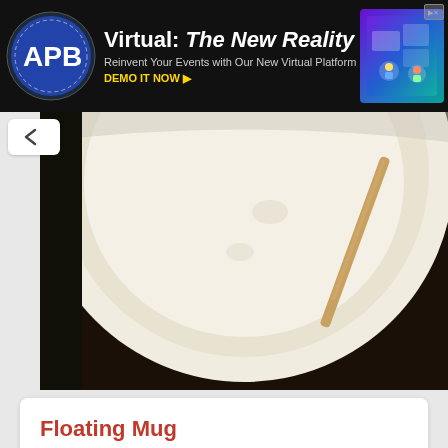[Figure (other): APB banner advertisement: 'Virtual: The New Reality — Reinvent Your Events with Our New Virtual Platform. DEMO IT NOW.' with APB logo on left and colorful virtual event graphic on right.]
[Figure (photo): Close-up overhead photo of a white ceramic mug filled with a light-colored liquid, viewed from above, with a wooden stirrer visible inside.]
Floating Mug
Admit it, whether it's for Christmas or your birthday, receiving mugs as gifts are the worst. You probably already have a truckload of them collecti…
[Figure (photo): Partial view of a second article's photo at the bottom of the page — appears to show a light-colored surface with red/dark spots, partially cropped.]